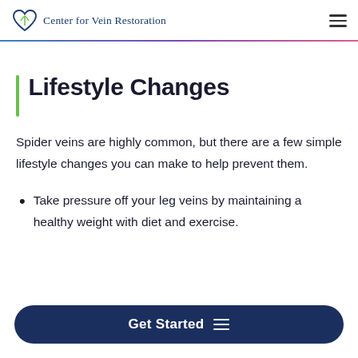Center for Vein Restoration
Lifestyle Changes
Spider veins are highly common, but there are a few simple lifestyle changes you can make to help prevent them.
Take pressure off your leg veins by maintaining a healthy weight with diet and exercise.
Get Started